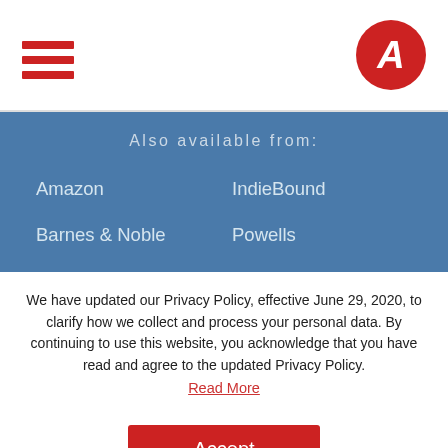Navigation header with hamburger menu and logo
Also available from:
Amazon
IndieBound
Barnes & Noble
Powells
Books-A-Million
!ndigo
Bookshop
We have updated our Privacy Policy, effective June 29, 2020, to clarify how we collect and process your personal data. By continuing to use this website, you acknowledge that you have read and agree to the updated Privacy Policy.
Read More
Accept